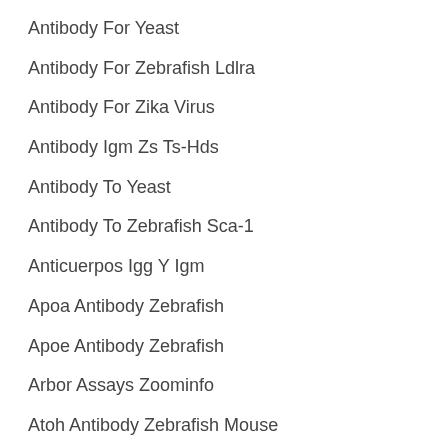Antibody For Yeast
Antibody For Zebrafish Ldlra
Antibody For Zika Virus
Antibody Igm Zs Ts-Hds
Antibody To Yeast
Antibody To Zebrafish Sca-1
Anticuerpos Igg Y Igm
Apoa Antibody Zebrafish
Apoe Antibody Zebrafish
Arbor Assays Zoominfo
Atoh Antibody Zebrafish Mouse
Awareness Technologies Your Order